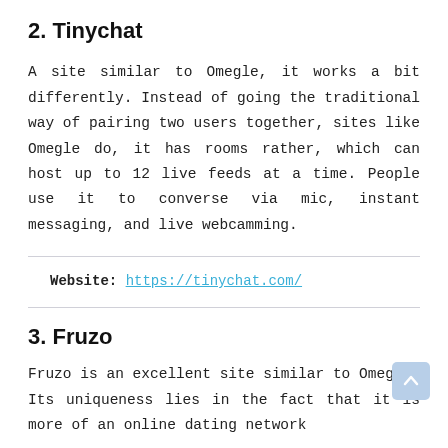2. Tinychat
A site similar to Omegle, it works a bit differently. Instead of going the traditional way of pairing two users together, sites like Omegle do, it has rooms rather, which can host up to 12 live feeds at a time. People use it to converse via mic, instant messaging, and live webcamming.
Website: https://tinychat.com/
3. Fruzo
Fruzo is an excellent site similar to Omegle. Its uniqueness lies in the fact that it is more of an online dating network